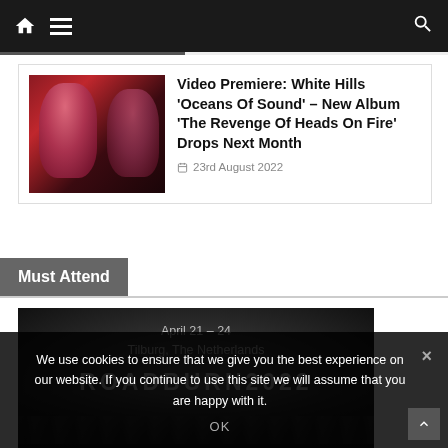Navigation bar with home icon, menu icon, and search icon
Video Premiere: White Hills 'Oceans Of Sound' – New Album 'The Revenge Of Heads On Fire' Drops Next Month
23rd August 2022
Must Attend
[Figure (photo): Roadburn 2022 festival banner showing date April 21-24, Tilburg, The Netherlands with Roadburn 2022 logo on dark background]
We use cookies to ensure that we give you the best experience on our website. If you continue to use this site we will assume that you are happy with it.
OK